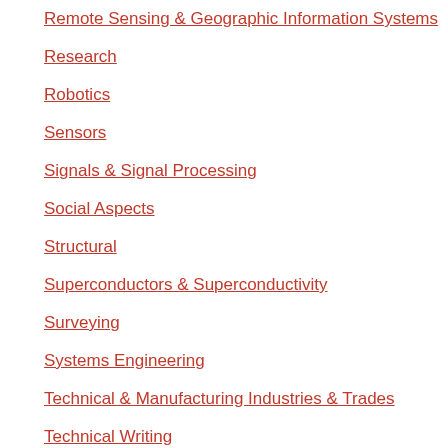Remote Sensing & Geographic Information Systems
Research
Robotics
Sensors
Signals & Signal Processing
Social Aspects
Structural
Superconductors & Superconductivity
Surveying
Systems Engineering
Technical & Manufacturing Industries & Trades
Technical Writing
Telecommunications
Television & Video
Textiles & Polymers